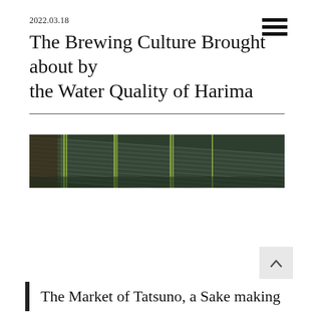2022.03.18
The Brewing Culture Brought about by the Water Quality of Harima
[Figure (photo): Wide panoramic photograph of water surface with ripples and reed-like vertical structures reflected in the water, dark greenish-brown tones]
The Market of Tatsuno, a Sake making